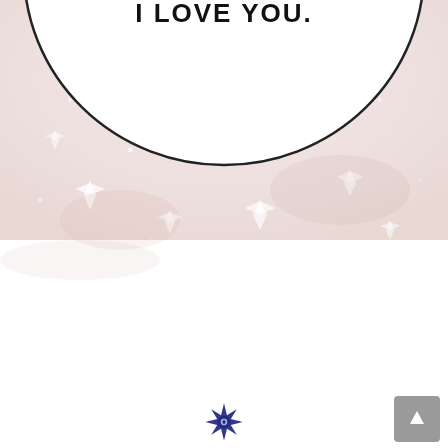[Figure (illustration): Card page showing bottom half of an oval/circle speech bubble with text 'I LOVE YOU.' on a sparkly pink/rose textured background. The lower half of the page is white/plain. At the very bottom center is a small decorative navy blue snowflake/star ornament logo.]